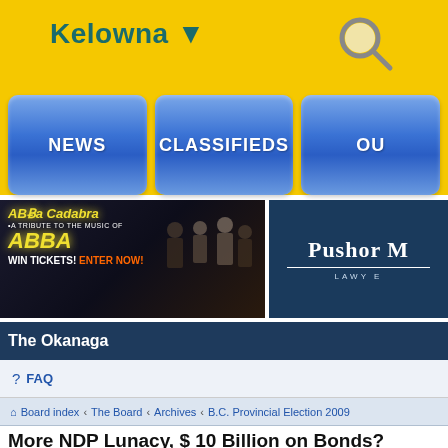Kelowna ▼
NEWS
CLASSIFIEDS
OU
[Figure (advertisement): ABBA Cadabra tribute concert ad - WIN TICKETS! ENTER NOW!]
[Figure (logo): Pushor M... Lawyers logo on dark blue background]
The Okanaga
FAQ
Board index · The Board · Archives · B.C. Provincial Election 2009
More NDP Lunacy, $ 10 Billion on Bonds?